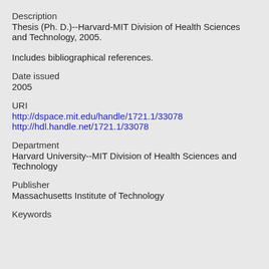Description
Thesis (Ph. D.)--Harvard-MIT Division of Health Sciences and Technology, 2005.
Includes bibliographical references.
Date issued
2005
URI
http://dspace.mit.edu/handle/1721.1/33078
http://hdl.handle.net/1721.1/33078
Department
Harvard University--MIT Division of Health Sciences and Technology
Publisher
Massachusetts Institute of Technology
Keywords